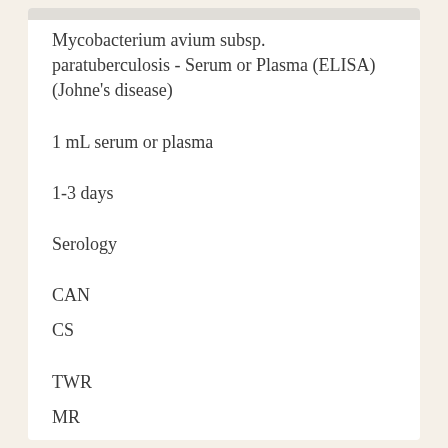Mycobacterium avium subsp. paratuberculosis - Serum or Plasma (ELISA) (Johne's disease)
1 mL serum or plasma
1-3 days
Serology
CAN
CS
TWR
MR